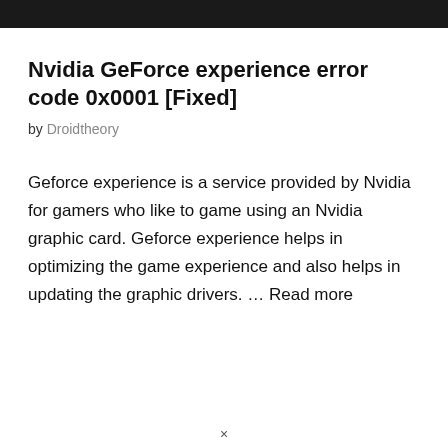Nvidia GeForce experience error code 0x0001 [Fixed]
by Droidtheory
Geforce experience is a service provided by Nvidia for gamers who like to game using an Nvidia graphic card. Geforce experience helps in optimizing the game experience and also helps in updating the graphic drivers. … Read more